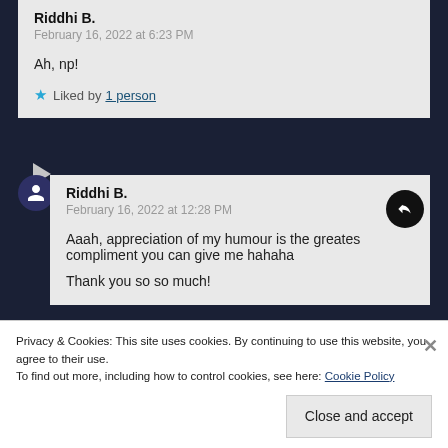Riddhi B.
February 16, 2022 at 6:23 PM
Ah, np!
Liked by 1 person
Riddhi B.
February 16, 2022 at 12:28 PM
Aaah, appreciation of my humour is the greates compliment you can give me hahaha
Thank you so so much!
Privacy & Cookies: This site uses cookies. By continuing to use this website, you agree to their use.
To find out more, including how to control cookies, see here: Cookie Policy
Close and accept